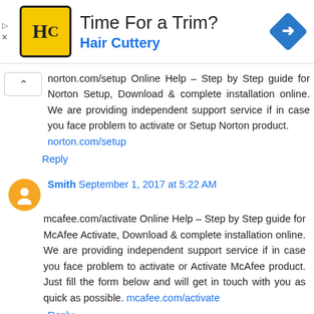[Figure (infographic): Hair Cuttery advertisement banner with yellow HC logo, 'Time For a Trim?' headline, 'Hair Cuttery' subtitle in blue, and a blue diamond-shaped navigation arrow icon]
norton.com/setup Online Help – Step by Step guide for Norton Setup, Download & complete installation online. We are providing independent support service if in case you face problem to activate or Setup Norton product. norton.com/setup
Reply
Smith September 1, 2017 at 5:22 AM
mcafee.com/activate Online Help – Step by Step guide for McAfee Activate, Download & complete installation online. We are providing independent support service if in case you face problem to activate or Activate McAfee product. Just fill the form below and will get in touch with you as quick as possible. mcafee.com/activate
Reply